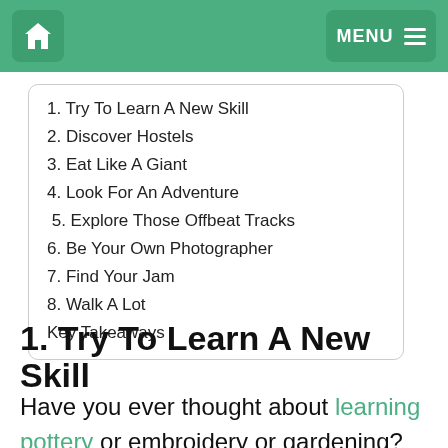Home | MENU
1. Try To Learn A New Skill
2. Discover Hostels
3. Eat Like A Giant
4. Look For An Adventure
5. Explore Those Offbeat Tracks
6. Be Your Own Photographer
7. Find Your Jam
8. Walk A Lot
Key Takeaways
1. Try To Learn A New Skill
Have you ever thought about learning pottery or embroidery or gardening? These are some